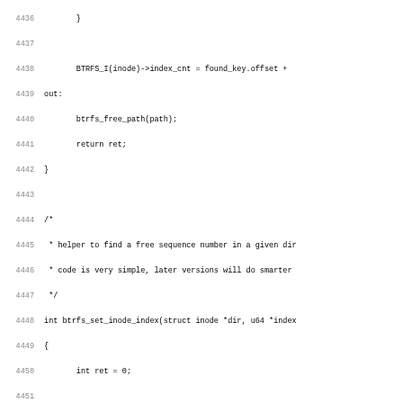Source code listing lines 4436-4467, showing btrfs filesystem kernel code including btrfs_set_inode_index function and start of btrfs_new_inode function.